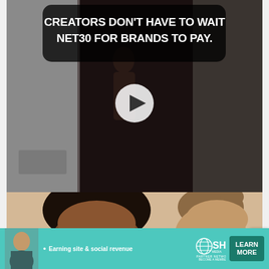[Figure (screenshot): Social media video screenshot showing a dark hallway/door scene with bold white text overlay reading 'CREATORS DON'T HAVE TO WAIT NET30 FOR BRANDS TO PAY.' with a play button in the center. Below is a photo of two children (a girl with curly hair and a toddler). At the bottom is a teal advertisement banner for SHE Partner Network with text 'Earning site & social revenue', the SHE Media logo, and a 'LEARN MORE' button.]